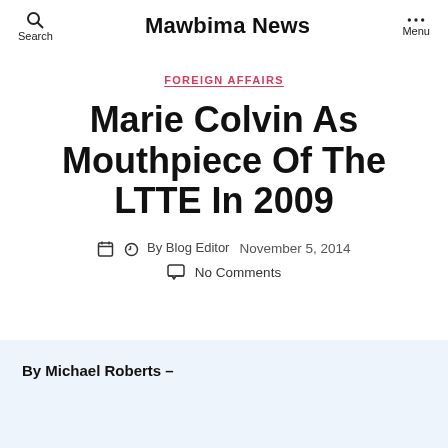Search | Mawbima News | Menu
FOREIGN AFFAIRS
Marie Colvin As Mouthpiece Of The LTTE In 2009
By Blog Editor   November 5, 2014
No Comments
By Michael Roberts –